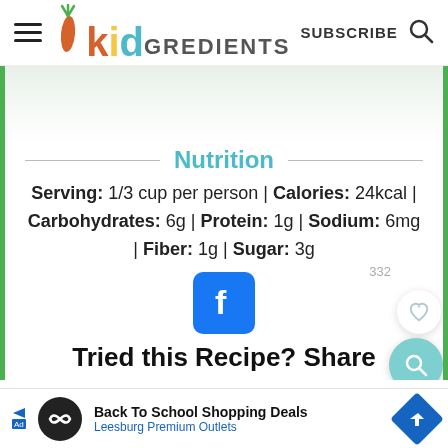kidGREDIENTS | SUBSCRIBE
Nutrition
Serving: 1/3 cup per person | Calories: 24kcal | Carbohydrates: 6g | Protein: 1g | Sodium: 6mg | Fiber: 1g | Sugar: 3g
[Figure (logo): Facebook share icon button]
Tried this Recipe? Share
[Figure (infographic): Advertisement: Back To School Shopping Deals - Leesburg Premium Outlets]